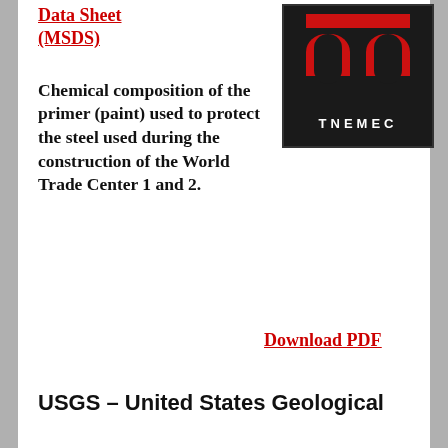Data Sheet (MSDS)
[Figure (logo): TNEMEC company logo — black background with two red arch/door shapes and white text TNEMEC, inside a bordered box]
Chemical composition of the primer (paint) used to protect the steel used during the construction of the World Trade Center 1 and 2.
Download PDF
USGS – United States Geological